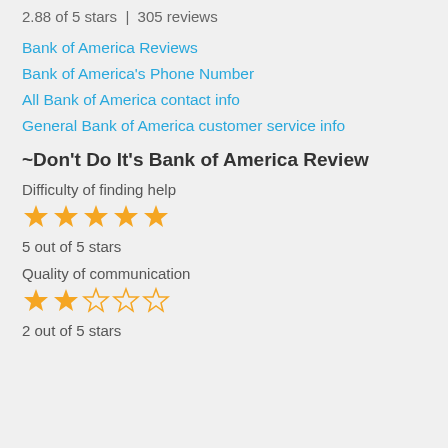2.88 of 5 stars | 305 reviews
Bank of America Reviews
Bank of America's Phone Number
All Bank of America contact info
General Bank of America customer service info
~Don't Do It's Bank of America Review
Difficulty of finding help
[Figure (other): 5 filled gold stars rating]
5 out of 5 stars
Quality of communication
[Figure (other): 2 filled gold stars and 3 empty stars rating]
2 out of 5 stars